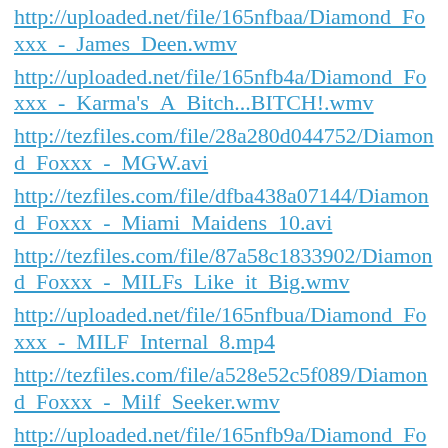http://uploaded.net/file/165nfbaa/Diamond_Foxxx_-_James_Deen.wmv
http://uploaded.net/file/165nfb4a/Diamond_Foxxx_-_Karma's_A_Bitch...BITCH!.wmv
http://tezfiles.com/file/28a280d044752/Diamond_Foxxx_-_MGW.avi
http://tezfiles.com/file/dfba438a07144/Diamond_Foxxx_-_Miami_Maidens_10.avi
http://tezfiles.com/file/87a58c1833902/Diamond_Foxxx_-_MILFs_Like_it_Big.wmv
http://uploaded.net/file/165nfbua/Diamond_Foxxx_-_MILF_Internal_8.mp4
http://tezfiles.com/file/a528e52c5f089/Diamond_Foxxx_-_Milf_Seeker.wmv
http://uploaded.net/file/165nfb9a/Diamond_Foxxx_-_Mommy_Blows_Best.wmv